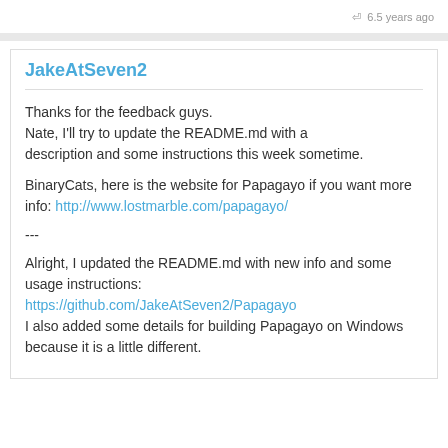6.5 years ago
JakeAtSeven2
Thanks for the feedback guys.
Nate, I'll try to update the README.md with a description and some instructions this week sometime.
BinaryCats, here is the website for Papagayo if you want more info: http://www.lostmarble.com/papagayo/
---
Alright, I updated the README.md with new info and some usage instructions:
https://github.com/JakeAtSeven2/Papagayo
I also added some details for building Papagayo on Windows because it is a little different.